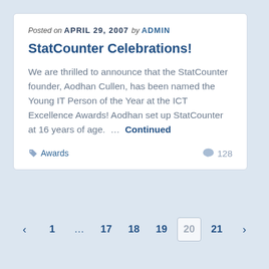Posted on APRIL 29, 2007 by ADMIN
StatCounter Celebrations!
We are thrilled to announce that the StatCounter founder, Aodhan Cullen, has been named the Young IT Person of the Year at the ICT Excellence Awards! Aodhan set up StatCounter at 16 years of age. ... Continued
Awards   128
‹  1  ...  17  18  19  20  21  ›